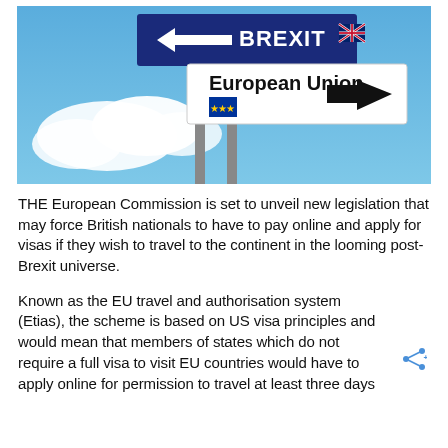[Figure (photo): Photo of two road signs on poles against a blue sky with clouds. The upper sign is dark blue with a left-pointing arrow and reads 'BREXIT' with a UK flag icon. The lower sign is white with a right-pointing black arrow and reads 'European Union' with a EU flag icon.]
THE European Commission is set to unveil new legislation that may force British nationals to have to pay online and apply for visas if they wish to travel to the continent in the looming post-Brexit universe.
Known as the EU travel and authorisation system (Etias), the scheme is based on US visa principles and would mean that members of states which do not require a full visa to visit EU countries would have to apply online for permission to travel at least three days